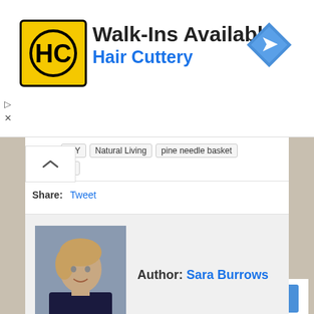[Figure (screenshot): Hair Cuttery advertisement banner with yellow logo, 'Walk-Ins Available' headline, 'Hair Cuttery' subline in blue, and a blue direction arrow icon on the right]
Tags: DIY | Natural Living | pine needle basket | Rewilding
Share: Tweet
Author: Sara Burrows
3 Comments
Search